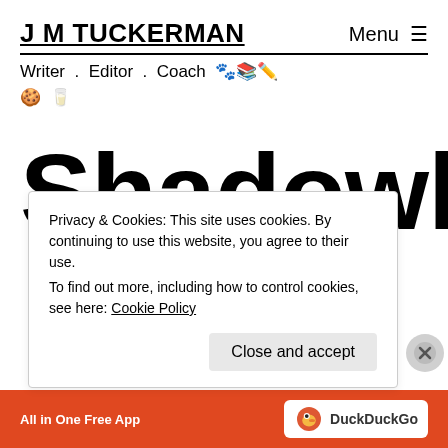J M TUCKERMAN
Menu ☰
Writer . Editor . Coach 🐾📚✏️ 🍪 🥛
Shadowhunter
Privacy & Cookies: This site uses cookies. By continuing to use this website, you agree to their use. To find out more, including how to control cookies, see here: Cookie Policy
Close and accept
All in One Free App   DuckDuckGo